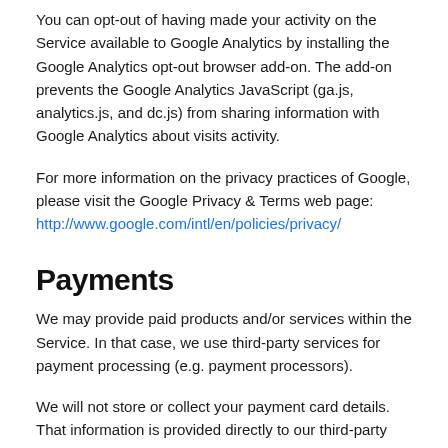You can opt-out of having made your activity on the Service available to Google Analytics by installing the Google Analytics opt-out browser add-on. The add-on prevents the Google Analytics JavaScript (ga.js, analytics.js, and dc.js) from sharing information with Google Analytics about visits activity.
For more information on the privacy practices of Google, please visit the Google Privacy & Terms web page: http://www.google.com/intl/en/policies/privacy/
Payments
We may provide paid products and/or services within the Service. In that case, we use third-party services for payment processing (e.g. payment processors).
We will not store or collect your payment card details. That information is provided directly to our third-party payment